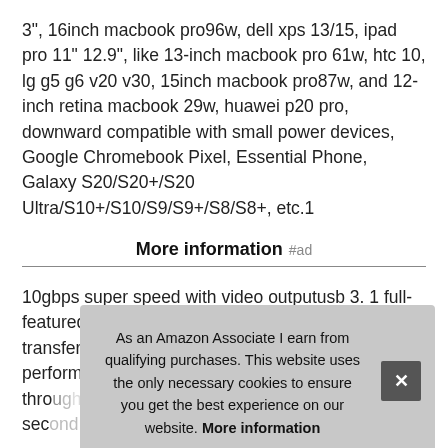3", 16inch macbook pro96w, dell xps 13/15, ipad pro 11" 12.9", like 13-inch macbook pro 61w, htc 10, lg g5 g6 v20 v30, 15inch macbook pro87w, and 12-inch retina macbook 29w, huawei p20 pro, downward compatible with small power devices, Google Chromebook Pixel, Essential Phone, Galaxy S20/S20+/S20 Ultra/S10+/S10/S9/S9+/S8/S8+, etc.1
More information #ad
10gbps super speed with video outputusb 3. 1 full-featured type c cable supports ultra-fast data transfer / sync speed up to 10Gbt/s; support high performance 4K UHD video and audio thro...
E-m... chi...
device for safely charge. Heavy duty qualitycablecreation usb
As an Amazon Associate I earn from qualifying purchases. This website uses the only necessary cookies to ensure you get the best experience on our website. More information